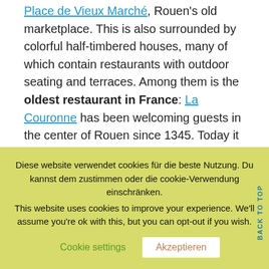Place de Vieux Marché, Rouen's old marketplace. This is also surrounded by colorful half-timbered houses, many of which contain restaurants with outdoor seating and terraces. Among them is the oldest restaurant in France: La Couronne has been welcoming guests in the center of Rouen since 1345. Today it is a half-timbered gable decorated with flowers and flags in the middle of the southern front of the houses.
[Figure (photo): Partial photo of a building in Rouen, showing a grey sky and rooftop with chimneys]
Diese website verwendet cookies für die beste Nutzung. Du kannst dem zustimmen oder die cookie-Verwendung einschränken.
This website uses cookies to improve your experience. We'll assume you're ok with this, but you can opt-out if you wish.
Cookie settings | Akzeptieren